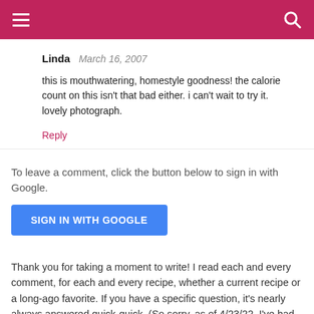≡  [search icon]
Linda  March 16, 2007
this is mouthwatering, homestyle goodness! the calorie count on this isn't that bad either. i can't wait to try it. lovely photograph.
Reply
To leave a comment, click the button below to sign in with Google.
SIGN IN WITH GOOGLE
Thank you for taking a moment to write! I read each and every comment, for each and every recipe, whether a current recipe or a long-ago favorite. If you have a specific question, it's nearly always answered quick-quick. (So sorry, as of 4/23/22, I've had to turn comments off to prevent hundreds of spam comments a day. Stupid Spammers.) ~ Alanna